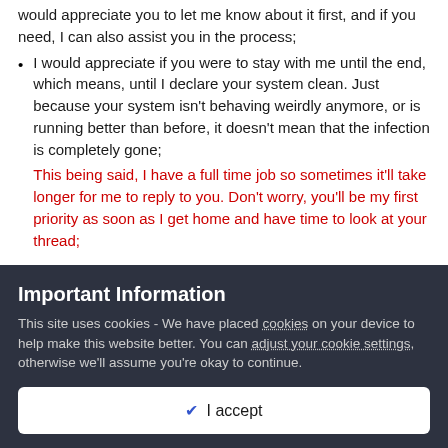would appreciate you to let me know about it first, and if you need, I can also assist you in the process;
I would appreciate if you were to stay with me until the end, which means, until I declare your system clean. Just because your system isn't behaving weirdly anymore, or is running better than before, it doesn't mean that the infection is completely gone;
This being said, I have a full time job so sometimes it'll take longer for me to reply to you. Don't worry, you'll be my first priority as soon as I get home and have time to look at your thread;
Important Information
This site uses cookies - We have placed cookies on your device to help make this website better. You can adjust your cookie settings, otherwise we'll assume you're okay to continue.
I accept